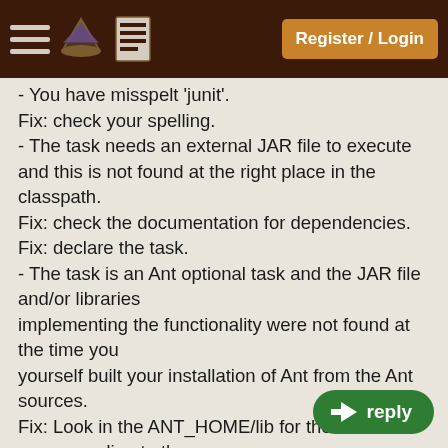Register / Login
- You have misspelt 'junit'.
Fix: check your spelling.
- The task needs an external JAR file to execute and this is not found at the right place in the classpath.
Fix: check the documentation for dependencies.
Fix: declare the task.
- The task is an Ant optional task and the JAR file and/or libraries implementing the functionality were not found at the time you yourself built your installation of Ant from the Ant sources.
Fix: Look in the ANT_HOME/lib for the 'ant-' JAR corresponding to the task and make sure it contains more than merely a META-INF/MANIFEST.MF.
If all it contains is the manifest, then rebuild Ant with the needed libraries present in ${ant.home}/lib/optional , or alternatively,